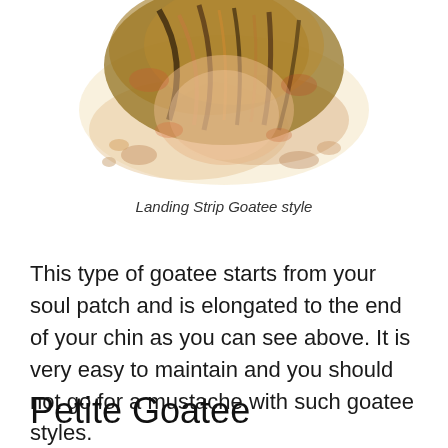[Figure (illustration): Watercolor/oil painting style illustration of a man's face with a landing strip goatee, showing warm brown, orange, and golden tones, partially cropped at top of page]
Landing Strip Goatee style
This type of goatee starts from your soul patch and is elongated to the end of your chin as you can see above. It is very easy to maintain and you should not go for a mustache with such goatee styles.
Petite Goatee